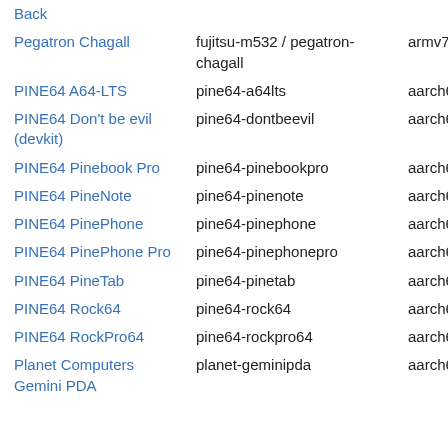| Device | Identifier | Architecture |
| --- | --- | --- |
| Back |  |  |
| Pegatron Chagall | fujitsu-m532 / pegatron-chagall | armv7 |
| PINE64 A64-LTS | pine64-a64lts | aarch64 |
| PINE64 Don't be evil (devkit) | pine64-dontbeevil | aarch64 |
| PINE64 Pinebook Pro | pine64-pinebookpro | aarch64 |
| PINE64 PineNote | pine64-pinenote | aarch64 |
| PINE64 PinePhone | pine64-pinephone | aarch64 |
| PINE64 PinePhone Pro | pine64-pinephonepro | aarch64 |
| PINE64 PineTab | pine64-pinetab | aarch64 |
| PINE64 Rock64 | pine64-rock64 | aarch64 |
| PINE64 RockPro64 | pine64-rockpro64 | aarch64 |
| Planet Computers Gemini PDA | planet-geminipda | aarch64 |